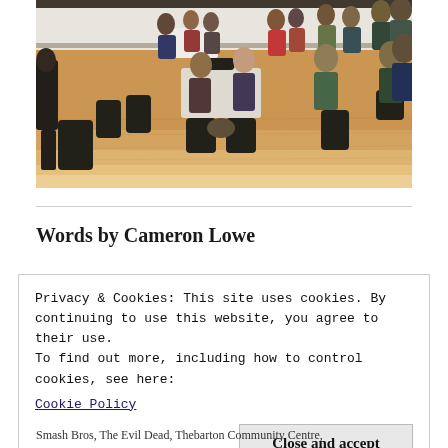[Figure (photo): Indoor photo of a community event in a hall. Many people seated at round and rectangular tables, some standing. Wooden floor visible in foreground. People appear to be playing games or attending a group event.]
Words by Cameron Lowe
Privacy & Cookies: This site uses cookies. By continuing to use this website, you agree to their use.
To find out more, including how to control cookies, see here:
Cookie Policy
[Close and accept]
Smash Bros, The Evil Dead, Thebarton Community Centre,